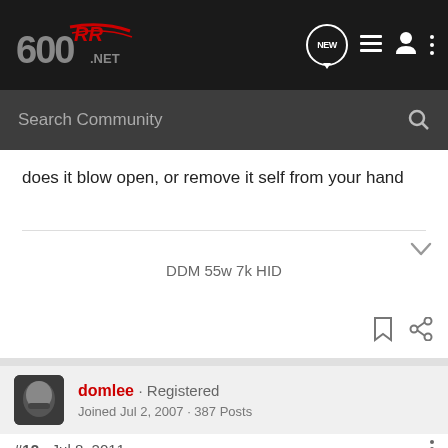RR600.NET navigation header with logo, NEW bubble, list icon, user icon, dots icon
Search Community
does it blow open, or remove it self from your hand
DDM 55w 7k HID
domlee · Registered
Joined Jul 2, 2007 · 387 Posts
#12 · Jul 8, 2011
Gauntlet[...] on your hand. W[...] e of your ro[...] st